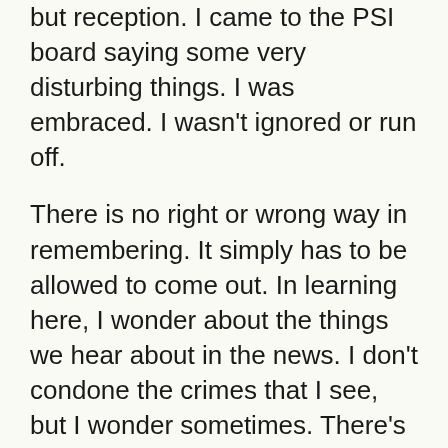but reception. I came to the PSI board saying some very disturbing things. I was embraced. I wasn't ignored or run off.
There is no right or wrong way in remembering. It simply has to be allowed to come out. In learning here, I wonder about the things we hear about in the news. I don't condone the crimes that I see, but I wonder sometimes. There's a bit of empathy there. If these folks were raised right, they wouldn't be posing for a mugshot.
There isn't a right/wrong way. Just let it out and dump it here. JMUO